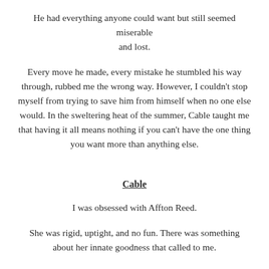He had everything anyone could want but still seemed miserable and lost.
Every move he made, every mistake he stumbled his way through, rubbed me the wrong way. However, I couldn't stop myself from trying to save him from himself when no one else would. In the sweltering heat of the summer, Cable taught me that having it all means nothing if you can't have the one thing you want more than anything else.
Cable
I was obsessed with Affton Reed.
She was rigid, uptight, and no fun. There was something about her innate goodness that called to me.